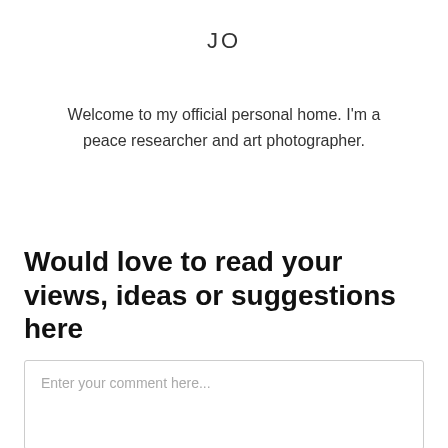JO
Welcome to my official personal home. I'm a peace researcher and art photographer.
Would love to read your views, ideas or suggestions here
Enter your comment here...